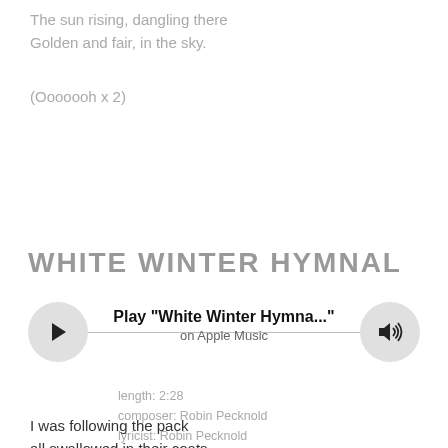The sun rising, dangling there
Golden and fair, in the sky.
(Ooooooh x 2)
WHITE WINTER HYMNAL
[Figure (other): Music player UI with play button, progress bar line, speaker/volume button, and centered text 'Play "White Winter Hymna..." on Apple Music']
length: 2:28
composer: Robin Pecknold
lyricist: Robin Pecknold
I was following the pack
all swallowed in their coats